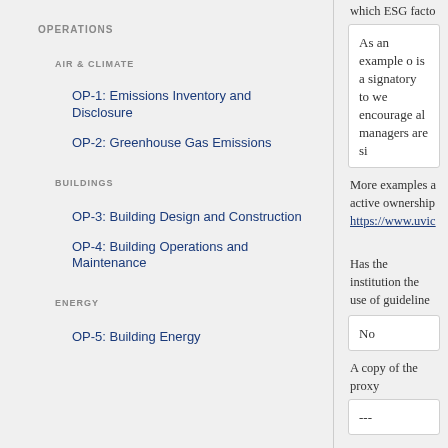OPERATIONS
AIR & CLIMATE
OP-1: Emissions Inventory and Disclosure
OP-2: Greenhouse Gas Emissions
BUILDINGS
OP-3: Building Design and Construction
OP-4: Building Operations and Maintenance
ENERGY
OP-5: Building Energy
which ESG facto
As an example o is a signatory to we encourage al managers are si
More examples a active ownership https://www.uvic
Has the institution the use of guideline
No
A copy of the proxy
---